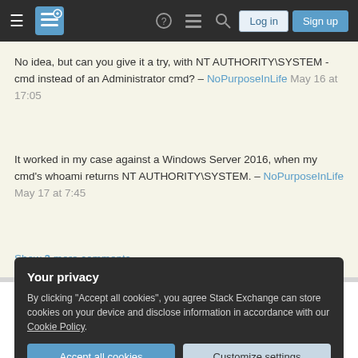Stack Exchange navigation bar with hamburger menu, logo, help, chat, search icons, Log in and Sign up buttons
No idea, but can you give it a try, with NT AUTHORITY\SYSTEM - cmd instead of an Administrator cmd? – NoPurposeInLife May 16 at 17:05
It worked in my case against a Windows Server 2016, when my cmd's whoami returns NT AUTHORITY\SYSTEM. – NoPurposeInLife May 17 at 7:45
Show 3 more comments
Your privacy
By clicking "Accept all cookies", you agree Stack Exchange can store cookies on your device and disclose information in accordance with our Cookie Policy.
Accept all cookies
Customize settings